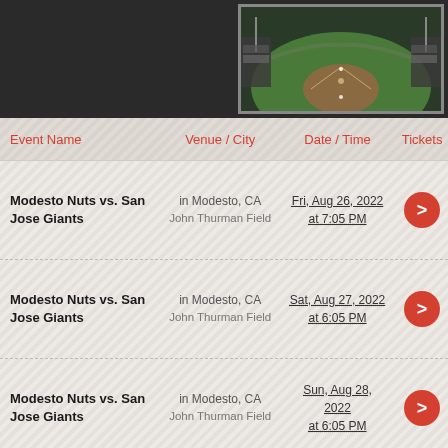[Figure (photo): Aerial view of a baseball stadium with green field and crowded stands]
| Event Name | Venue / City | Date / Time | Tickets |
| --- | --- | --- | --- |
| Modesto Nuts vs. San Jose Giants | in Modesto, CA
John Thurman Field | Fri, Aug 26, 2022
at 7:05 PM | > |
| Modesto Nuts vs. San Jose Giants | in Modesto, CA
John Thurman Field | Sat, Aug 27, 2022
at 6:05 PM | > |
| Modesto Nuts vs. San Jose Giants | in Modesto, CA
John Thurman Field | Sun, Aug 28, 2022
at 6:05 PM | > |
| Fresno Grizzlies vs. Modesto Nuts | in Fresno, CA
Chukchansi Park | Tue, Aug 30, 2022
at 6:50 PM | > |